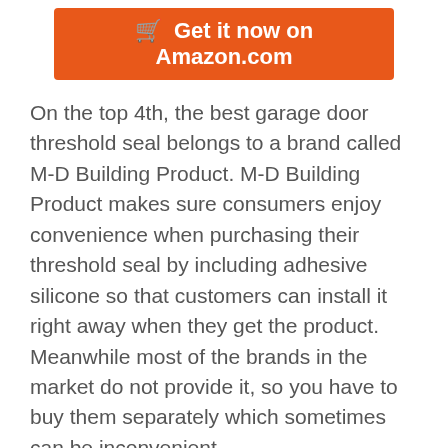[Figure (other): Orange Amazon button with cart icon and text 'Get it now on Amazon.com']
On the top 4th, the best garage door threshold seal belongs to a brand called M-D Building Product. M-D Building Product makes sure consumers enjoy convenience when purchasing their threshold seal by including adhesive silicone so that customers can install it right away when they get the product. Meanwhile most of the brands in the market do not provide it, so you have to buy them separately which sometimes can be inconvenient.